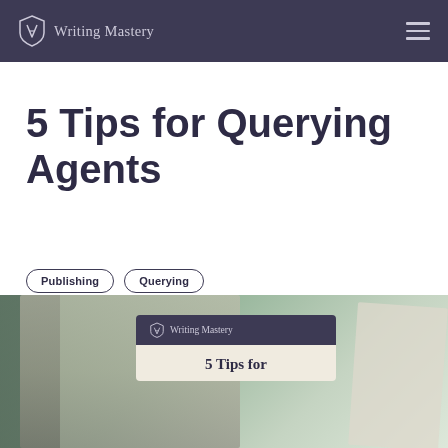Writing Mastery
5 Tips for Querying Agents
Publishing
Querying
[Figure (photo): Woman at desk with laptop and paper, overlaid with Writing Mastery logo card and partial article title '5 Tips for']